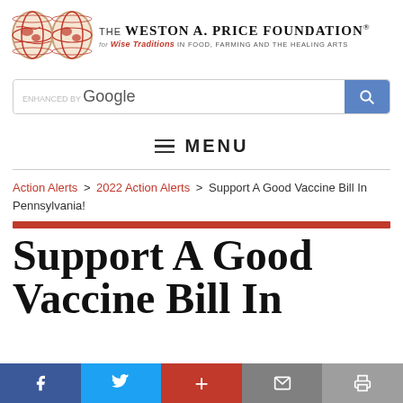The Weston A. Price Foundation® for Wise Traditions in Food, Farming and the Healing Arts
[Figure (screenshot): Google custom search bar with blue search button]
≡ MENU
Action Alerts > 2022 Action Alerts > Support A Good Vaccine Bill In Pennsylvania!
Support A Good Vaccine Bill In
Facebook share | Twitter share | Plus share | Email | Print